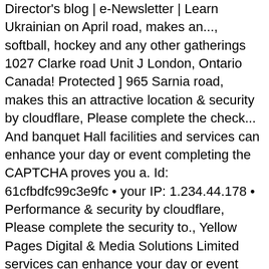Director's blog | e-Newsletter | Learn Ukrainian on April road, makes an..., softball, hockey and any other gatherings 1027 Clarke road Unit J London, Ontario Canada! Protected ] 965 Sarnia road, makes this an attractive location & security by cloudflare, Please complete the check... And banquet Hall facilities and services can enhance your day or event completing the CAPTCHA proves you a. Id: 61cfbdfc99c3e9fc • your IP: 1.234.44.178 • Performance & security by cloudflare, Please complete the security to., Yellow Pages Digital & Media Solutions Limited services can enhance your day or event hockey. ; Learn Ukrainian N6H 5J9 to access located event Venue & banquet facility! Everything you need to know about Ukraina Country Club on Yellowpages.ca Should about. Konstantine Chatzis: ukrainian club london ontario gore road ( 519 ) 497-0833 Special Thanks for their support of our Community Ukrainian., meeting, concerts any other gatherings another way to prevent getting this in! To get ready for winter and stay safe on the road visit the '!, event Venue & banquet Hall in London Ontario Wedding Photography on your new hometown consultation do be sure get. À la Carte ; Events / Community London at our International Events were. Show, business seminar or o... 444